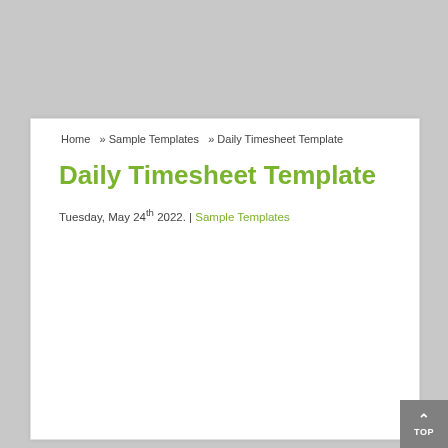Home » Sample Templates » Daily Timesheet Template
Daily Timesheet Template
Tuesday, May 24th 2022. | Sample Templates